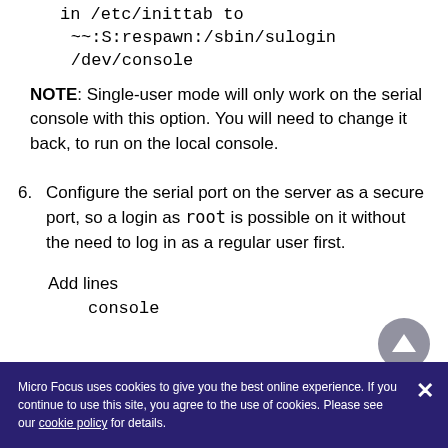in /etc/inittab to
    ~~:S:respawn:/sbin/sulogin
    /dev/console
NOTE: Single-user mode will only work on the serial console with this option. You will need to change it back, to run on the local console.
6. Configure the serial port on the server as a secure port, so a login as root is possible on it without the need to log in as a regular user first.
Add lines
        console
Micro Focus uses cookies to give you the best online experience. If you continue to use this site, you agree to the use of cookies. Please see our cookie policy for details.